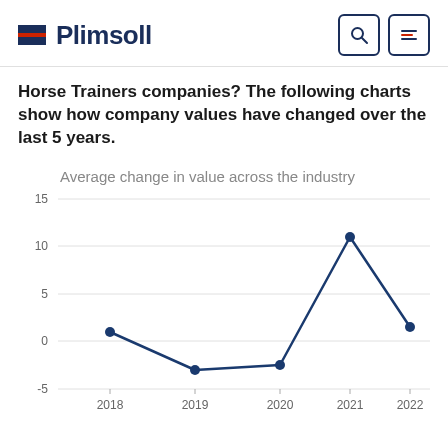Plimsoll
Horse Trainers companies? The following charts show how company values have changed over the last 5 years.
[Figure (line-chart): Average change in value across the industry]